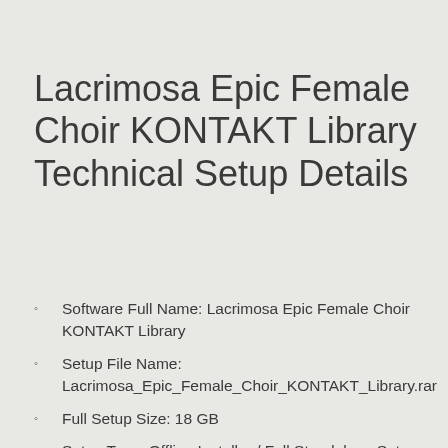Lacrimosa Epic Female Choir KONTAKT Library Technical Setup Details
Software Full Name: Lacrimosa Epic Female Choir KONTAKT Library
Setup File Name: Lacrimosa_Epic_Female_Choir_KONTAKT_Library.rar
Full Setup Size: 18 GB
Setup Type: Offline Installer / Full Standalone Setup
Compatibility Architecture: 32 Bit (x86) / 64 Bit